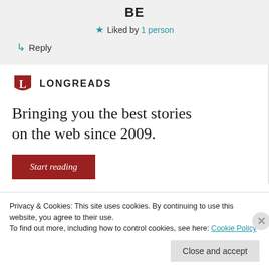BE
★ Liked by 1 person
↳ Reply
[Figure (logo): Longreads logo: red shield with white L, followed by LONGREADS text in bold uppercase]
Bringing you the best stories on the web since 2009.
Start reading
Privacy & Cookies: This site uses cookies. By continuing to use this website, you agree to their use.
To find out more, including how to control cookies, see here: Cookie Policy
Close and accept